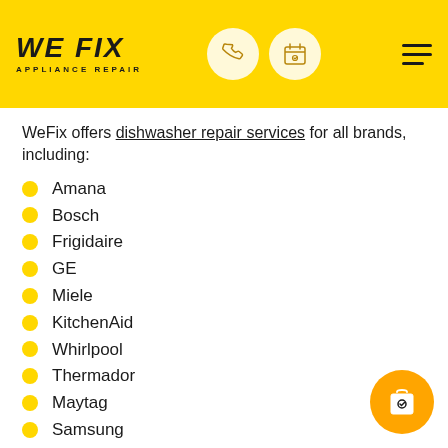WE FIX APPLIANCE REPAIR
WeFix offers dishwasher repair services for all brands, including:
Amana
Bosch
Frigidaire
GE
Miele
KitchenAid
Whirlpool
Thermador
Maytag
Samsung
and More!